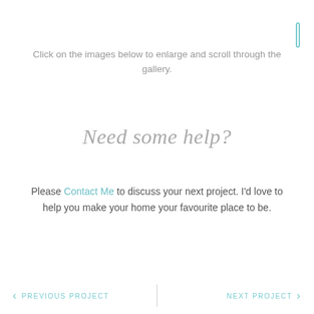[Figure (other): Scrollbar indicator icon — a small rounded rectangle outline in teal/light blue color, positioned top-right corner]
Click on the images below to enlarge and scroll through the gallery.
Need some help?
Please Contact Me to discuss your next project. I'd love to help you make your home your favourite place to be.
< PREVIOUS PROJECT  |  NEXT PROJECT >